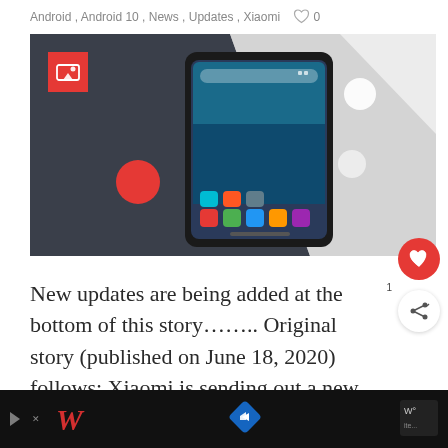Android, Android 10, News, Updates, Xiaomi  ♡ 0
[Figure (photo): Xiaomi smartphone product photo showing a dark-colored Android phone with app icons on screen, displayed on a dark slate and grey background with geometric shapes and red circle accent.]
New updates are being added at the bottom of this story…….. Original story (published on June 18, 2020) follows: Xiaomi is sending out a new
[Figure (other): Advertisement bar at the bottom showing Walgreens logo and a blue navigation icon on a dark background.]